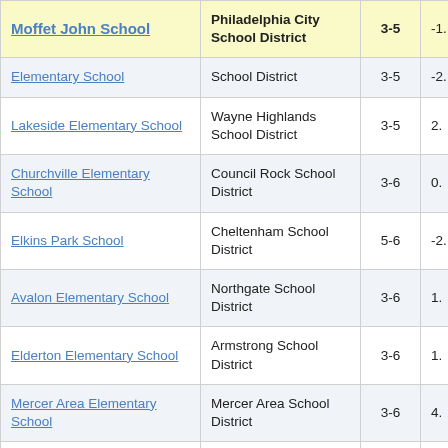| School | District | Grades | Value |
| --- | --- | --- | --- |
| Moffet John School | Philadelphia City School District | 3-5 | -1. |
| Elementary School | School District | 3-5 | -2. |
| Lakeside Elementary School | Wayne Highlands School District | 3-5 | 2. |
| Churchville Elementary School | Council Rock School District | 3-6 | 0. |
| Elkins Park School | Cheltenham School District | 5-6 | -2. |
| Avalon Elementary School | Northgate School District | 3-6 | 1. |
| Elderton Elementary School | Armstrong School District | 3-6 | 1. |
| Mercer Area Elementary School | Mercer Area School District | 3-6 | 4. |